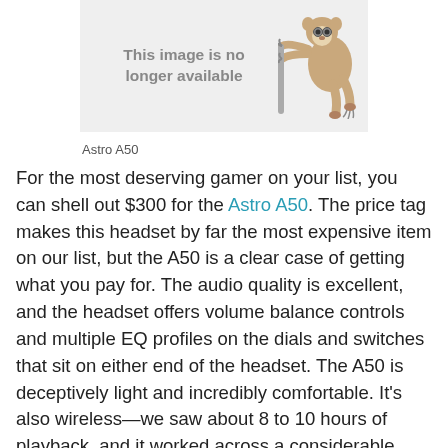[Figure (photo): Image placeholder with sloth illustration and text 'This image is no longer available']
Astro A50
For the most deserving gamer on your list, you can shell out $300 for the Astro A50. The price tag makes this headset by far the most expensive item on our list, but the A50 is a clear case of getting what you pay for. The audio quality is excellent, and the headset offers volume balance controls and multiple EQ profiles on the dials and switches that sit on either end of the headset. The A50 is deceptively light and incredibly comfortable. It's also wireless—we saw about 8 to 10 hours of playback, and it worked across a considerable